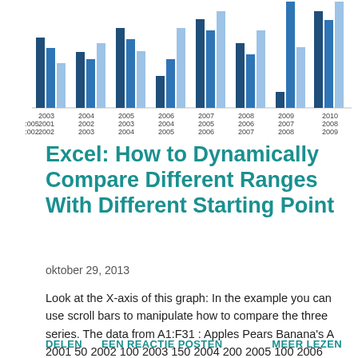[Figure (grouped-bar-chart): Dynamic Range Comparison Chart]
Excel: How to Dynamically Compare Different Ranges With Different Starting Point
oktober 29, 2013
Look at the X-axis of this graph: In the example you can use scroll bars to manipulate how to compare the three series. The data from A1:F31 : Apples Pears Banana's A 2001 50 2002 100 2003 150 2004 200 2005 100 2006 300 2007 …
DELEN   EEN REACTIE POSTEN   MEER LEZEN